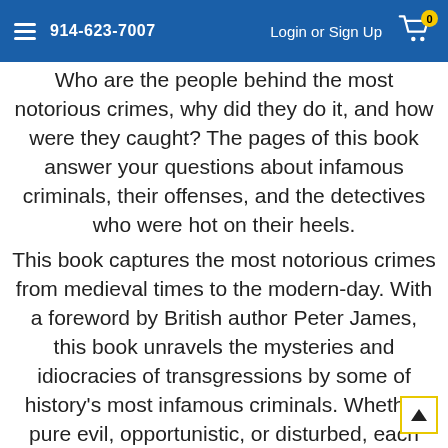914-623-7007  Login or Sign Up  0
Who are the people behind the most notorious crimes, why did they do it, and how were they caught? The pages of this book answer your questions about infamous criminals, their offenses, and the detectives who were hot on their heels.
This book captures the most notorious crimes from medieval times to the modern-day. With a foreword by British author Peter James, this book unravels the mysteries and idiocracies of transgressions by some of history's most infamous criminals. Whether pure evil, opportunistic, or disturbed, each criminal is profiled to make sense of their lawless behavior and antisocial actions.